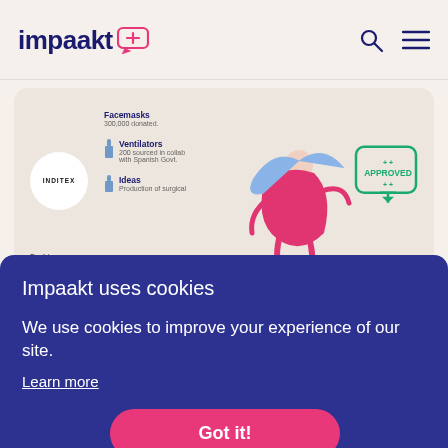impaakt
[Figure (infographic): Inditex company card showing Facemasks (300,000 donated), Ventilators (200 sourced in collab with Spanish Govt), Ideas (Production of surgical items). Shows an illustrated figure and APPROVED badge.]
Impaakt uses cookies
We use cookies to improve your experience of our site.
Learn more
Got it!